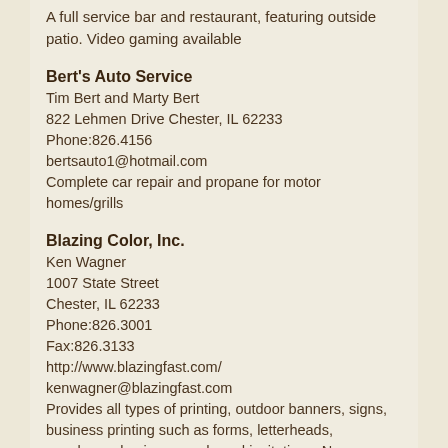A full service bar and restaurant, featuring outside patio. Video gaming available
Bert's Auto Service
Tim Bert and Marty Bert
822 Lehmen Drive Chester, IL 62233
Phone:826.4156
bertsauto1@hotmail.com
Complete car repair and propane for motor homes/grills
Blazing Color, Inc.
Ken Wagner
1007 State Street
Chester, IL 62233
Phone:826.3001
Fax:826.3133
http://www.blazingfast.com/
kenwagner@blazingfast.com
Provides all types of printing, outdoor banners, signs, business printing such as forms, letterheads, envelopes, business cards and invitations. Now printing t-shirts,